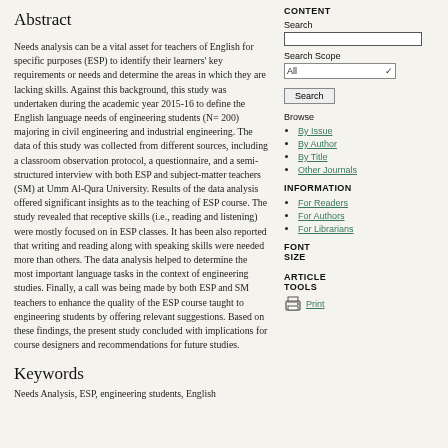Abstract
Needs analysis can be a vital asset for teachers of English for specific purposes (ESP) to identify their learners' key requirements or needs and determine the areas in which they are lacking skills. Against this background, this study was undertaken during the academic year 2015-16 to define the English language needs of engineering students (N= 200) majoring in civil engineering and industrial engineering. The data of this study was collected from different sources, including a classroom observation protocol, a questionnaire, and a semi-structured interview with both ESP and subject-matter teachers (SM) at Umm Al-Qura University. Results of the data analysis offered significant insights as to the teaching of ESP course. The study revealed that receptive skills (i.e., reading and listening) were mostly focused on in ESP classes. It has been also reported that writing and reading along with speaking skills were needed more than others. The data analysis helped to determine the most important language tasks in the context of engineering studies. Finally, a call was being made by both ESP and SM teachers to enhance the quality of the ESP course taught to engineering students by offering relevant suggestions. Based on these findings, the present study concluded with implications for course designers and recommendations for future studies.
Keywords
Needs Analysis, ESP, engineering students, English
CONTENT
Search
Search Scope
All
Browse
By Issue
By Author
By Title
Other Journals
INFORMATION
For Readers
For Authors
For Librarians
FONT SIZE
ARTICLE TOOLS
Print